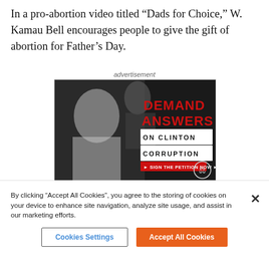In a pro-abortion video titled “Dads for Choice,” W. Kamau Bell encourages people to give the gift of abortion for Father’s Day.
advertisement
[Figure (photo): Political advertisement showing black-and-white photo of Hillary Clinton and another person in profile with red text reading 'DEMAND ANSWERS' and white block letters 'ON CLINTON CORRUPTION' with a red banner 'SIGN THE PETITION NOW' and a scales-of-justice logo]
By clicking “Accept All Cookies”, you agree to the storing of cookies on your device to enhance site navigation, analyze site usage, and assist in our marketing efforts.
Cookies Settings
Accept All Cookies